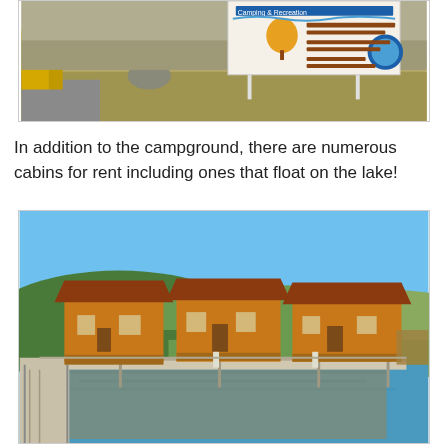[Figure (photo): Outdoor photo showing a grassy field with a large informational sign mounted on white posts, featuring text and a logo. Yellow structures visible on the left, rocks and dry grass in the background.]
In addition to the campground, there are numerous cabins for rent including ones that float on the lake!
[Figure (photo): Photo of floating cabins on a lake. Three wooden cabin structures with brown roofs sit on a dock/platform over calm water. Green hills and blue sky in the background. A walkway/pier leads to the cabins.]